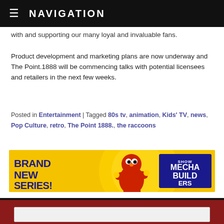≡  NAVIGATION
with and supporting our many loyal and invaluable fans.
Product development and marketing plans are now underway and The Point.1888 will be commencing talks with potential licensees and retailers in the next few weeks.
Posted in Entertainment | Tagged 80s tv, animation, Kids' TV, news, Pop Culture, retro, The Point 1888., the raccoons
[Figure (illustration): Yellow banner advertisement reading 'BRAND NEW SERIES!' with a cartoon red character (Elmo) and 'MECHA BUILDERS' logo on the right side]
RECRUITMENT
[Figure (screenshot): Partially visible card/form area with white background on a dark red background]